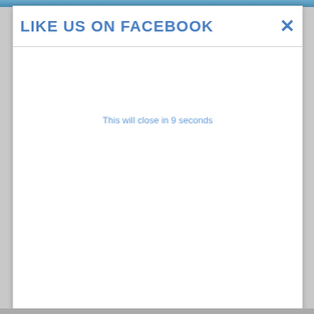[Figure (screenshot): Top image strip showing partial background image (water/swimming scene)]
LIKE US ON FACEBOOK ✕
This will close in 9 seconds